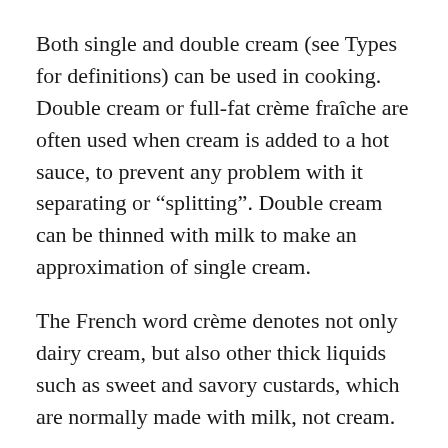Both single and double cream (see Types for definitions) can be used in cooking. Double cream or full-fat crème fraîche are often used when cream is added to a hot sauce, to prevent any problem with it separating or “splitting”. Double cream can be thinned with milk to make an approximation of single cream.
The French word crème denotes not only dairy cream, but also other thick liquids such as sweet and savory custards, which are normally made with milk, not cream.
Different grades of cream are distinguished by their fat content, whether they have been heat-treated, whipped, and so on. In many jurisdictions, there are regulations